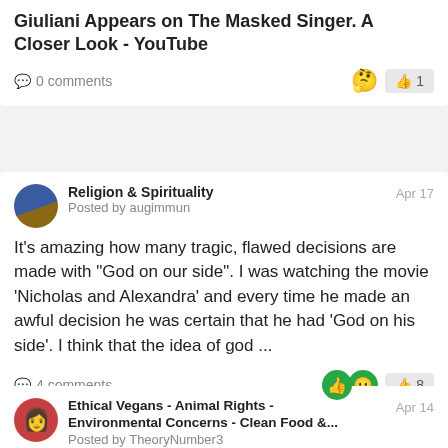Giuliani Appears on The Masked Singer. A Closer Look - YouTube
0 comments   1
Religion & Spirituality
Posted by augimmun
Apr 17
It's amazing how many tragic, flawed decisions are made with "God on our side". I was watching the movie 'Nicholas and Alexandra' and every time he made an awful decision he was certain that he had 'God on his side'. I think that the idea of god ...
4 comments   8
Ethical Vegans - Animal Rights - Environmental Concerns - Clean Food &...
Posted by TheoryNumber3
Apr 14